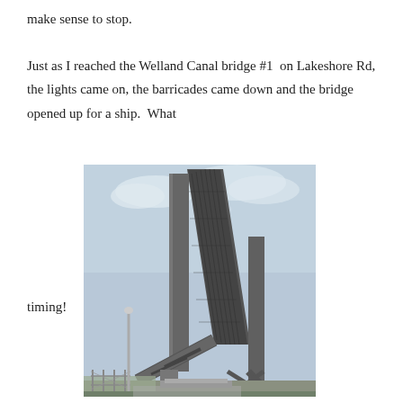make sense to stop.
Just as I reached the Welland Canal bridge #1  on Lakeshore Rd, the lights came on, the barricades came down and the bridge opened up for a ship.  What
[Figure (photo): A drawbridge (bascule bridge) on the Welland Canal opened upward at a steep angle. The steel structure and counterweights are visible against a cloudy sky. Industrial infrastructure and fencing visible in the foreground.]
timing!